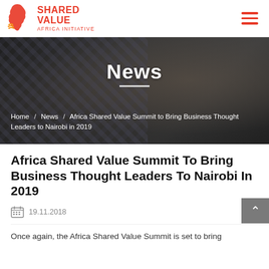Shared Value Africa Initiative — navigation header with logo and hamburger menu
[Figure (photo): Hero banner with background photo of two people working on a laptop. Text overlay shows 'News' heading with white divider line and breadcrumb navigation.]
Africa Shared Value Summit To Bring Business Thought Leaders To Nairobi In 2019
19.11.2018
Once again, the Africa Shared Value Summit is set to bring